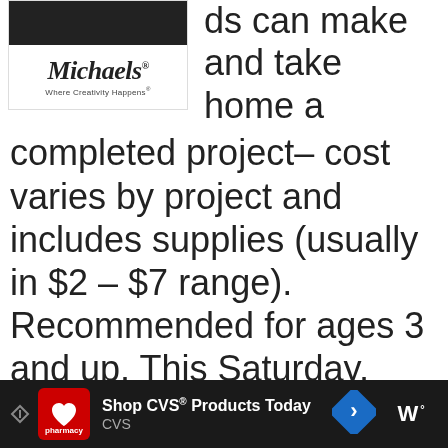[Figure (logo): Michaels store logo with 'Where Creativity Happens' tagline, with dark top bar]
ds can make and take home a completed project– cost varies by project and includes supplies (usually in $2 – $7 range). Recommended for ages 3 and up. This Saturday, September 17th from 10 am – 12 noon, kids can
[Figure (infographic): CVS Pharmacy advertisement bar at bottom: 'Shop CVS® Products Today' with CVS logo, navigation arrow, and MW logo]